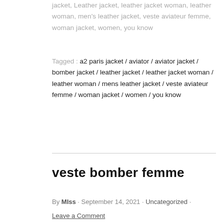jacket, Leather jacket, leather jacket woman, leather woman, men's leather jacket, veste aviateur femme, woman jacket, women, you know
Tagged : a2 paris jacket / aviator / aviator jacket / bomber jacket / leather jacket / leather jacket woman / leather woman / mens leather jacket / veste aviateur femme / woman jacket / women / you know
veste bomber femme
By MIss · September 14, 2021 · Uncategorized · Leave a Comment